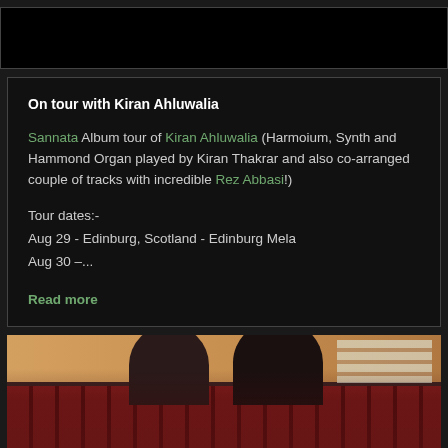[Figure (photo): Dark image block at top of page, appears to be a partially visible photo with black background]
On tour with Kiran Ahluwalia
Sannata Album tour of Kiran Ahluwalia (Harmoium, Synth and Hammond Organ played by Kiran Thakrar and also co-arranged couple of tracks with incredible Rez Abbasi!)
Tour dates:-
Aug 29 - Edinburg, Scotland - Edinburg Mela
Aug 30 –...
Read more
[Figure (photo): Photo of two men standing in a venue hall with red chairs arranged in rows, wooden floor visible in background]